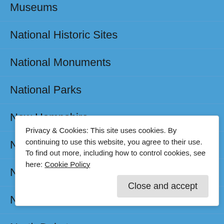Museums
National Historic Sites
National Monuments
National Parks
New Hampshire
New Mexico
New York
North Carolina
North Dakota
Rhode Island
Privacy & Cookies: This site uses cookies. By continuing to use this website, you agree to their use. To find out more, including how to control cookies, see here: Cookie Policy